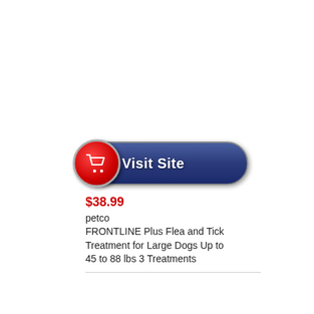[Figure (illustration): A 'Visit Site' button with a red circular shopping cart icon on the left and a dark blue pill-shaped button with white bold text 'Visit Site']
$38.99
petco
FRONTLINE Plus Flea and Tick Treatment for Large Dogs Up to 45 to 88 lbs 3 Treatments